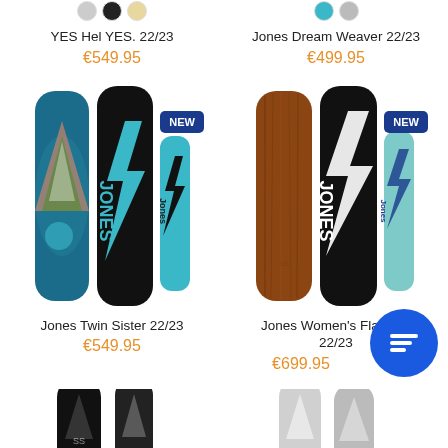[Figure (photo): Color swatches for YES Hel YES snowboard at top, partially cropped]
[Figure (photo): Color swatches for Jones Dream Weaver snowboard at top, partially cropped]
YES Hel YES. 22/23
€549.95
Jones Dream Weaver 22/23
€499.95
[Figure (photo): Jones Twin Sister 22/23 snowboards shown in three colorways with NEW badge]
[Figure (photo): Jones Women's Flagship 22/23 snowboards shown in three colorways with NEW badge]
Jones Twin Sister 22/23
€549.95
Jones Women's Flagship 22/23
€699.95
[Figure (photo): Bottom of page showing tops of snowboards, partially cropped]
[Figure (photo): Bottom of page showing tops of snowboards, partially cropped]